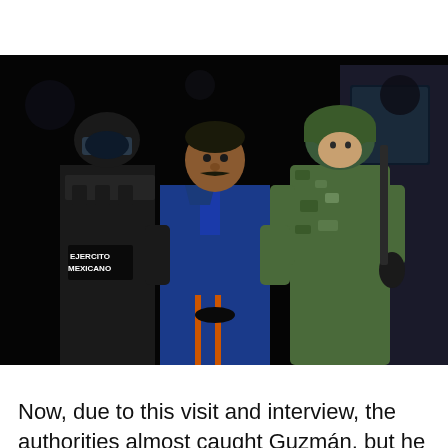[Figure (photo): A man in a blue polo shirt and blue tracksuit pants is being escorted by armed soldiers in camouflage uniforms and tactical gear. The soldier on the left wears a patch reading 'EJERCITO MEXICANO'. The scene is dark/night. The man being escorted appears to be Joaquín 'El Chapo' Guzmán.]
Now, due to this visit and interview, the authorities almost caught Guzmán, but he escaped, using a shield of two women personal